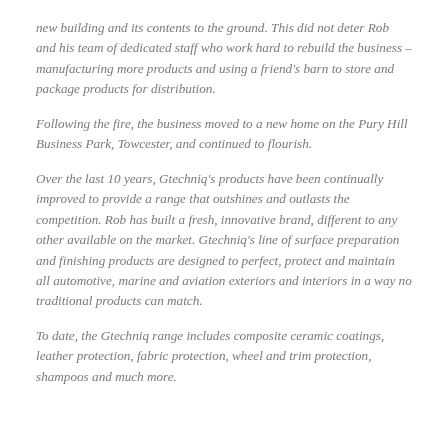new building and its contents to the ground. This did not deter Rob and his team of dedicated staff who work hard to rebuild the business – manufacturing more products and using a friend's barn to store and package products for distribution.
Following the fire, the business moved to a new home on the Pury Hill Business Park, Towcester, and continued to flourish.
Over the last 10 years, Gtechniq's products have been continually improved to provide a range that outshines and outlasts the competition. Rob has built a fresh, innovative brand, different to any other available on the market. Gtechniq's line of surface preparation and finishing products are designed to perfect, protect and maintain all automotive, marine and aviation exteriors and interiors in a way no traditional products can match.
To date, the Gtechniq range includes composite ceramic coatings, leather protection, fabric protection, wheel and trim protection, shampoos and much more.